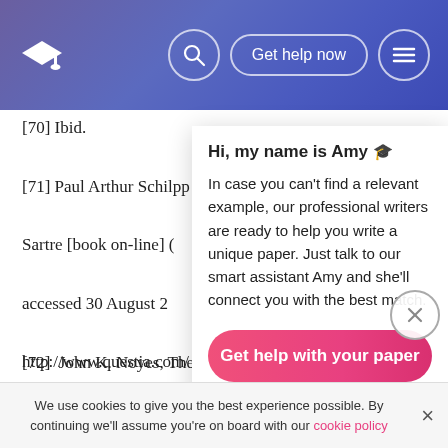[Figure (screenshot): Website navigation bar with graduation cap logo, search button, 'Get help now' button, and hamburger menu button on a purple/blue gradient background]
[70] Ibid.
[71] Paul Arthur Schilpp ... Sartre [book on-line] ( ... accessed 30 August 20... http://www.questia.com/ ... Internet.
[Figure (screenshot): Chat popup overlay: 'Hi, my name is Amy' with message 'In case you can't find a relevant example, our professional writers are ready to help you write a unique paper. Just talk to our smart assistant Amy and she'll connect you with the best match.' and a pink 'Get help with your paper' button]
[72] John K. Noyes, The ... of Masochism [book on-l...
(Ithaca, NY: Cornell University Press, 1997, accessed 27 August 2007), 54; available from Questia,
We use cookies to give you the best experience possible. By continuing we'll assume you're on board with our cookie policy